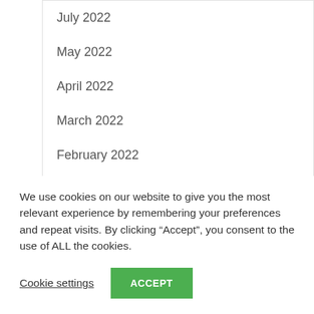July 2022
May 2022
April 2022
March 2022
February 2022
January 2022
September 2021
August 2021
July 2021
We use cookies on our website to give you the most relevant experience by remembering your preferences and repeat visits. By clicking “Accept”, you consent to the use of ALL the cookies.
Cookie settings | ACCEPT